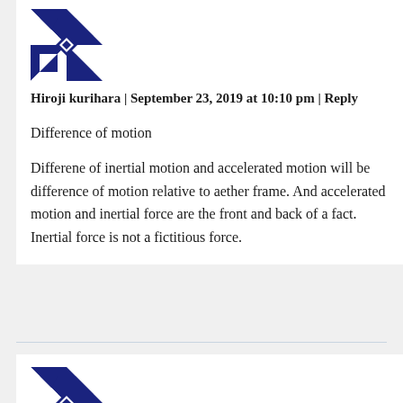[Figure (illustration): Geometric blue and white pinwheel/star avatar icon for Hiroji kurihara]
Hiroji kurihara | September 23, 2019 at 10:10 pm | Reply
Difference of motion
Differene of inertial motion and accelerated motion will be difference of motion relative to aether frame. And accelerated motion and inertial force are the front and back of a fact. Inertial force is not a fictitious force.
[Figure (illustration): Geometric blue and white pinwheel/star avatar icon for second commenter]